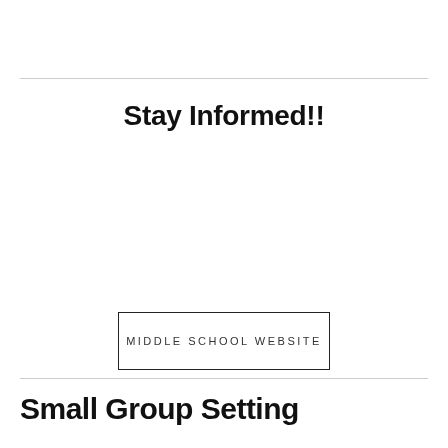Stay Informed!!
MIDDLE SCHOOL WEBSITE
Small Group Setting